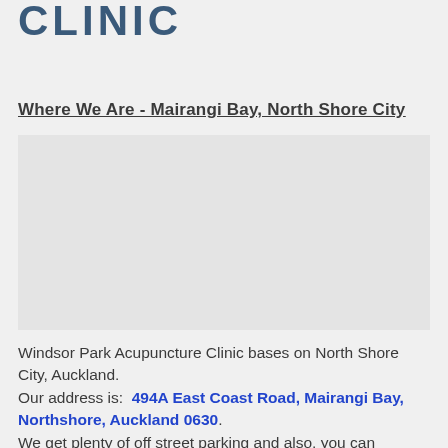CLINIC
Where We Are - Mairangi Bay, North Shore City
[Figure (map): Map placeholder showing Mairangi Bay, North Shore City area]
Windsor Park Acupuncture Clinic bases on North Shore City, Auckland.
Our address is:  494A East Coast Road, Mairangi Bay, Northshore, Auckland 0630.
We get plenty of off street parking and also, you can